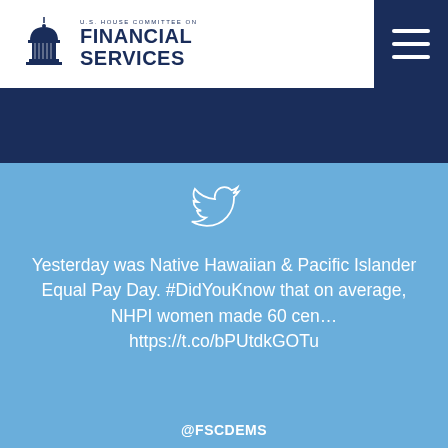[Figure (logo): U.S. House Committee on Financial Services logo with capitol building icon]
Yesterday was Native Hawaiian & Pacific Islander Equal Pay Day. #DidYouKnow that on average, NHPI women made 60 cen… https://t.co/bPUtdkGOTu
@FSCDEMS